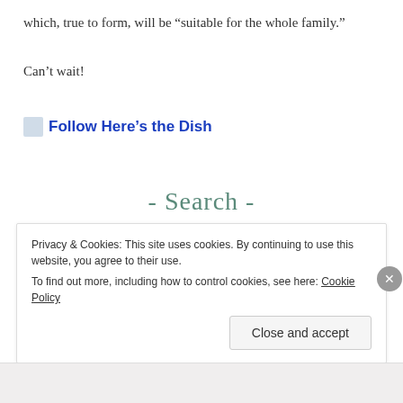which, true to form, will be “suitable for the whole family.”
Can’t wait!
Follow Here’s the Dish
- Search -
Search …
Privacy & Cookies: This site uses cookies. By continuing to use this website, you agree to their use.
To find out more, including how to control cookies, see here: Cookie Policy
Close and accept